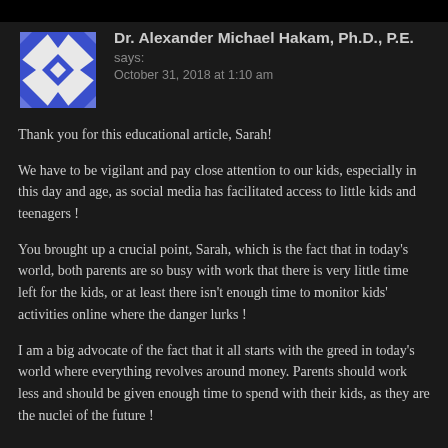[Figure (illustration): Geometric avatar icon with blue and white triangular pattern on black background]
Dr. Alexander Michael Hakam, Ph.D., P.E.
says:
October 31, 2018 at 1:10 am
Thank you for this educational article, Sarah!
We have to be vigilant and pay close attention to our kids, especially in this day and age, as social media has facilitated access to little kids and teenagers !
You brought up a crucial point, Sarah, which is the fact that in today's world, both parents are so busy with work that there is very little time left for the kids, or at least there isn't enough time to monitor kids' activities online where the danger lurks !
I am a big advocate of the fact that it all starts with the greed in today's world where everything revolves around money. Parents should work less and should be given enough time to spend with their kids, as they are the nuclei of the future !